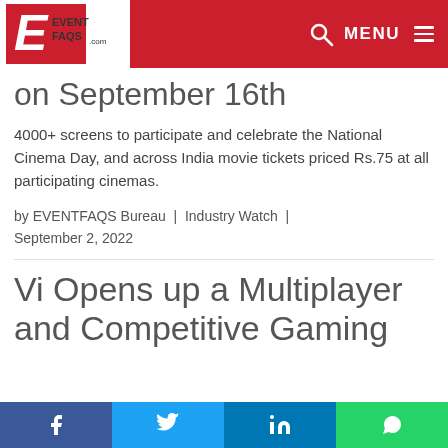EVENTFAQS.COM | MENU
on September 16th
4000+ screens to participate and celebrate the National Cinema Day, and across India movie tickets priced Rs.75 at all participating cinemas.
by EVENTFAQS Bureau  |  Industry Watch  |  September 2, 2022
Vi Opens up a Multiplayer and Competitive Gaming
Facebook | Twitter | LinkedIn | WhatsApp